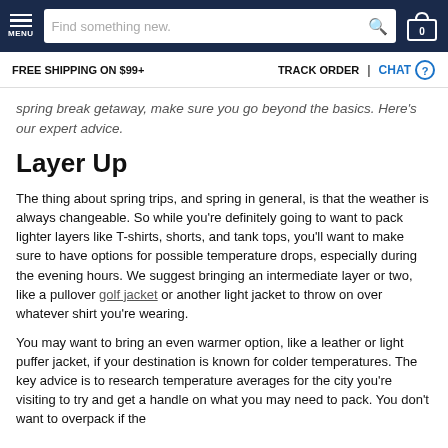MENU | Find something new. | 0
FREE SHIPPING ON $99+ | TRACK ORDER | CHAT
spring break getaway, make sure you go beyond the basics. Here's our expert advice.
Layer Up
The thing about spring trips, and spring in general, is that the weather is always changeable. So while you're definitely going to want to pack lighter layers like T-shirts, shorts, and tank tops, you'll want to make sure to have options for possible temperature drops, especially during the evening hours. We suggest bringing an intermediate layer or two, like a pullover golf jacket or another light jacket to throw on over whatever shirt you're wearing.
You may want to bring an even warmer option, like a leather or light puffer jacket, if your destination is known for colder temperatures. The key advice is to research temperature averages for the city you're visiting to try and get a handle on what you may need to pack. You don't want to overpack if the